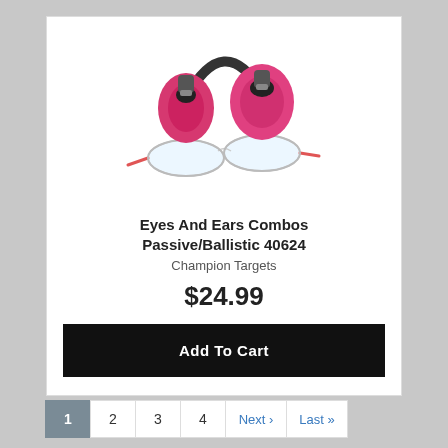[Figure (photo): Pink earmuffs with black headband and clear safety glasses with red accents — Eyes And Ears Combo product photo]
Eyes And Ears Combos Passive/Ballistic 40624
Champion Targets
$24.99
Add To Cart
1  2  3  4  Next ›  Last »